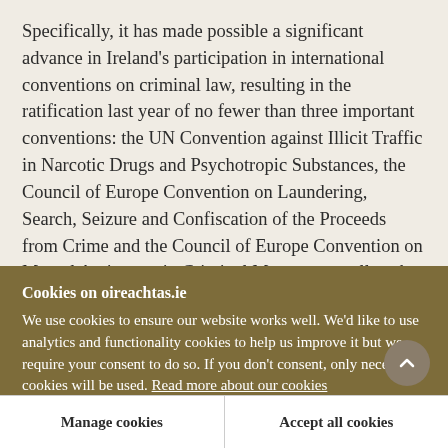Specifically, it has made possible a significant advance in Ireland's participation in international conventions on criminal law, resulting in the ratification last year of no fewer than three important conventions: the UN Convention against Illicit Traffic in Narcotic Drugs and Psychotropic Substances, the Council of Europe Convention on Laundering, Search, Seizure and Confiscation of the Proceeds from Crime and the Council of Europe Convention on Mutual Assistance in Criminal Matters, as well as the Protocol
Cookies on oireachtas.ie
We use cookies to ensure our website works well. We'd like to use analytics and functionality cookies to help us improve it but we require your consent to do so. If you don't consent, only necessary cookies will be used. Read more about our cookies
Manage cookies
Accept all cookies